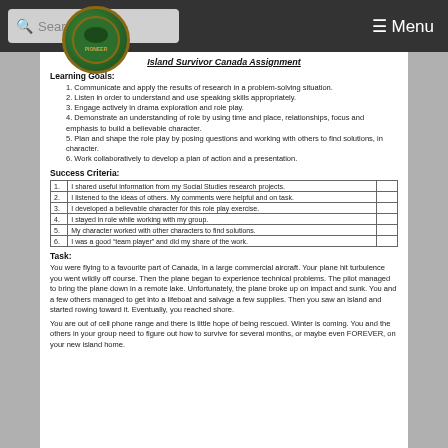Island Survivor Canada Assignment
Learning Goals:
Communicate and apply the results of research in a problem-solving situation.
Listen in order to understand and use speaking skills appropriately.
Engage actively in drama exploration and role play.
Demonstrate an understanding of role by using time and place, relationships, focus and emphasis to build a believable character.
Plan and shape the role play by posing questions and working with others to find solutions, in character.
Work collaboratively to develop a plan of action and a presentation.
Success Criteria:
| # | Criteria |  |
| --- | --- | --- |
| 1. | I shared useful information from my Social Studies research projects. |  |
| 2. | I listened to the ideas of others. My comments were helpful and on task. |  |
| 3. | I developed a believable character for this role play exercise. |  |
| 4. | I stayed in role while working with my group. |  |
| 5. | My character worked with other characters to find solutions. |  |
| 6. | I was a good "team player" and did my share of the work. |  |
Task:
You were flying to a favourite part of Canada, in a large commercial aircraft. Your plane hit turbulence you went wildly off course. Then the plane began to experience technical problems. The pilot managed to bring the plane down in a remote lake. Unfortunately, the plane broke up on impact and sunk. You and a few others managed to get into a lifeboat and salvage a few supplies. Then you saw an island and started rowing toward it. Eventually, you reached shore.
You are out of cell phone range and there is little hope of being rescued. Winter is coming. You and the others in your group need to figure out how to survive for several months, or maybe even FOREVER, on your new island home.